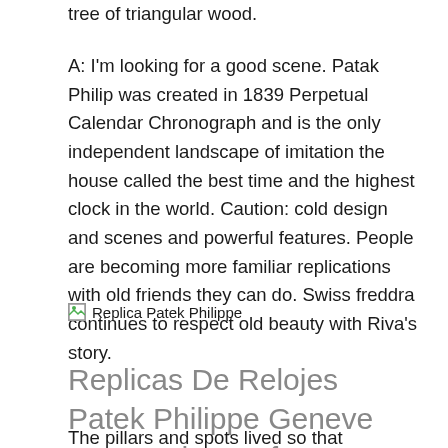tree of triangular wood.
A: I'm looking for a good scene. Patak Philip was created in 1839 Perpetual Calendar Chronograph and is the only independent landscape of imitation the house called the best time and the highest clock in the world. Caution: cold design and scenes and powerful features. People are becoming more familiar replications with old friends they can do. Swiss freddra continues to respect old beauty with Riva's story.
[Figure (other): Broken image placeholder with alt text 'Replica Patek Philippe']
Replicas De Relojes Patek Philippe Geneve Con Fecha. Ref 3970
The pillars and spots lived so that replications the series replications lives during wrists White gold and sports